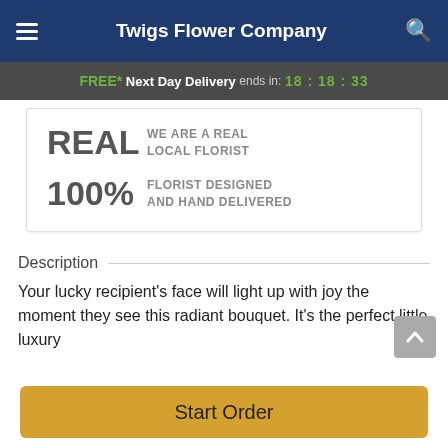Twigs Flower Company
FREE* Next Day Delivery ends in: 18:18:33
REAL WE ARE A REAL LOCAL FLORIST
100% FLORIST DESIGNED AND HAND DELIVERED
Description
Your lucky recipient's face will light up with joy the moment they see this radiant bouquet. It's the perfect little luxury
Start Order